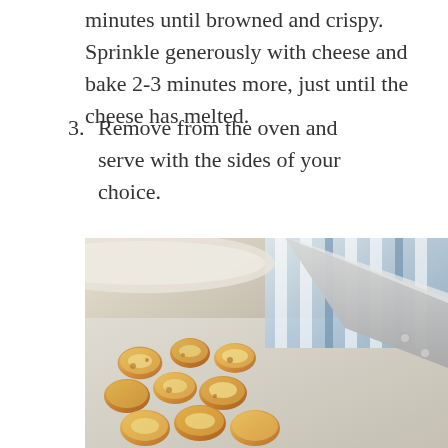minutes until browned and crispy. Sprinkle generously with cheese and bake 2-3 minutes more, just until the cheese has melted.
3. Remove from the oven and serve with the sides of your choice.
[Figure (photo): Photo of cheesy tater tots on a baking sheet with a metal spatula, with a blue and white striped cloth in the background]